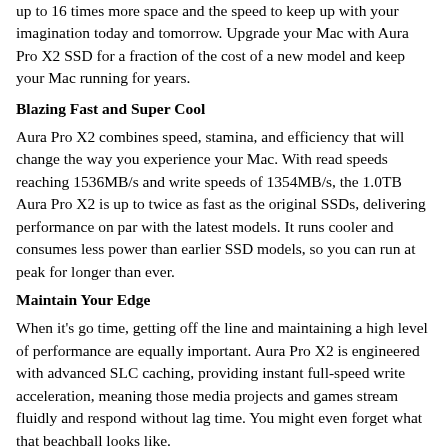up to 16 times more space and the speed to keep up with your imagination today and tomorrow. Upgrade your Mac with Aura Pro X2 SSD for a fraction of the cost of a new model and keep your Mac running for years.
Blazing Fast and Super Cool
Aura Pro X2 combines speed, stamina, and efficiency that will change the way you experience your Mac. With read speeds reaching 1536MB/s and write speeds of 1354MB/s, the 1.0TB Aura Pro X2 is up to twice as fast as the original SSDs, delivering performance on par with the latest models. It runs cooler and consumes less power than earlier SSD models, so you can run at peak for longer than ever.
Maintain Your Edge
When it's go time, getting off the line and maintaining a high level of performance are equally important. Aura Pro X2 is engineered with advanced SLC caching, providing instant full-speed write acceleration, meaning those media projects and games stream fluidly and respond without lag time. You might even forget what that beachball looks like.
Continuous Compatibility